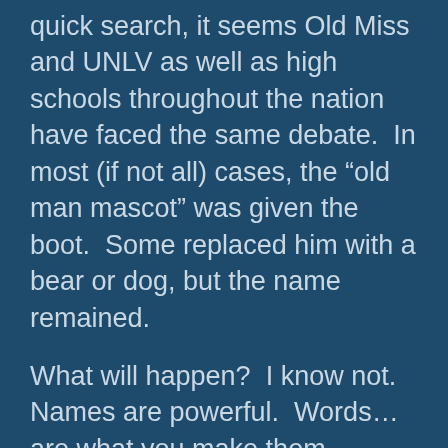quick search, it seems Old Miss and UNLV as well as high schools throughout the nation have faced the same debate.  In most (if not all) cases, the “old man mascot” was given the boot.  Some replaced him with a bear or dog, but the name remained.
What will happen?  I know not.  Names are powerful.  Words…are what you make them.
Yet, this morning as I was once again overwhelmed by the FB posts on this subject, I tried to think of words that get me “worked up”.
The first that came to mind was the N